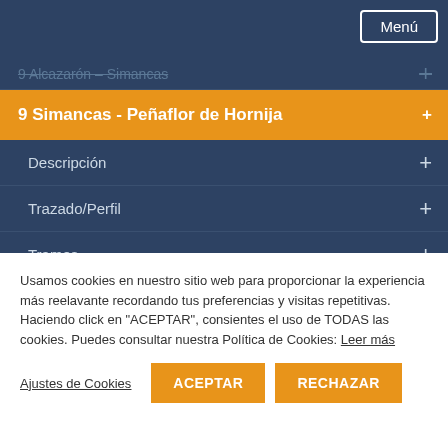Menú
9 Alcazarón – Simancas
9 Simancas - Peñaflor de Hornija
Descripción
Trazado/Perfil
Tramos
Pueblos
Albergues
Hospedajes
Dónde comer
Usamos cookies en nuestro sitio web para proporcionar la experiencia más reelavante recordando tus preferencias y visitas repetitivas. Haciendo click en "ACEPTAR", consientes el uso de TODAS las cookies. Puedes consultar nuestra Política de Cookies: Leer más
Ajustes de Cookies | ACEPTAR | RECHAZAR